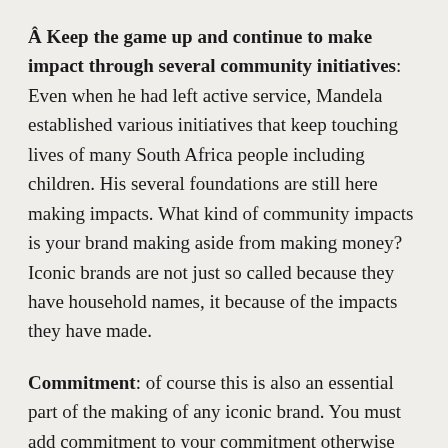Â Keep the game up and continue to make impact through several community initiatives: Even when he had left active service, Mandela established various initiatives that keep touching lives of many South Africa people including children. His several foundations are still here making impacts. What kind of community impacts is your brand making aside from making money? Iconic brands are not just so called because they have household names, it because of the impacts they have made.
Commitment: of course this is also an essential part of the making of any iconic brand. You must add commitment to your commitment otherwise you may give up at the verge of victory without knowing.
We conclude with a quote from this great brand; â€œâ€ Part of being optimistic is keeping one's head...